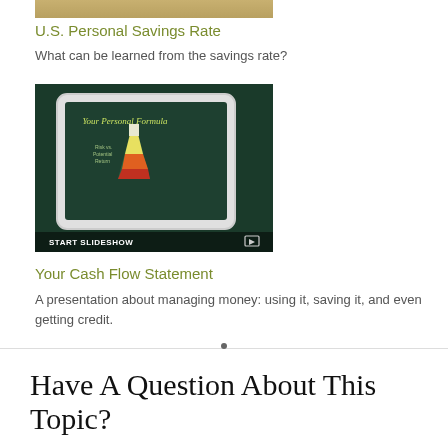[Figure (photo): Partial top image cropped at top of page]
U.S. Personal Savings Rate
What can be learned from the savings rate?
[Figure (screenshot): Tablet showing 'Your Personal Formula' slideshow with a colorful beaker/flask infographic on dark green background, with START SLIDESHOW label at bottom]
Your Cash Flow Statement
A presentation about managing money: using it, saving it, and even getting credit.
Have A Question About This Topic?